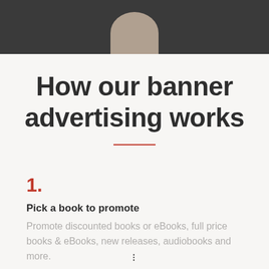[Figure (photo): Partial photo of a person with light hair against a dark background, cropped at the top of the page]
How our banner advertising works
1.
Pick a book to promote
Promote discounted books or eBooks, full price books & eBooks, new releases, audiobooks and more.